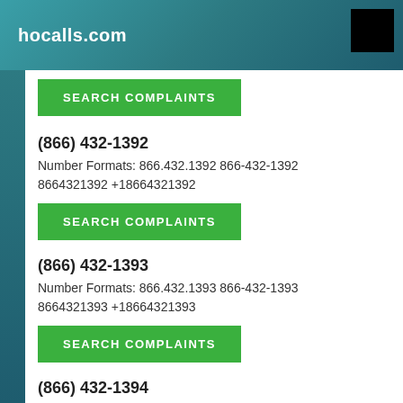hocalls.com
SEARCH COMPLAINTS
(866) 432-1392
Number Formats: 866.432.1392 866-432-1392 8664321392 +18664321392
SEARCH COMPLAINTS
(866) 432-1393
Number Formats: 866.432.1393 866-432-1393 8664321393 +18664321393
SEARCH COMPLAINTS
(866) 432-1394
Number Formats: 866.432.1394 866-432-1394 8664321394 +18664321394